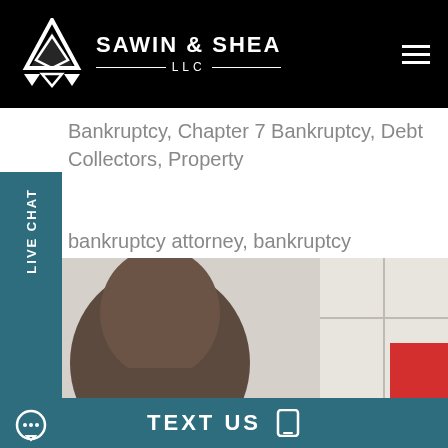SAWIN & SHEA LLC
Bankruptcy, Chapter 7 Bankruptcy, Debt Collectors, Property
bankruptcy attorney, bankruptcy attorneys, kruptcy basics, bankruptcy law, Chapter 13, pter 7, debt, indiana bankruptcy
[Figure (photo): Person viewed from behind, looking toward a bright window area, with a small red rectangle in the lower right]
TEXT US